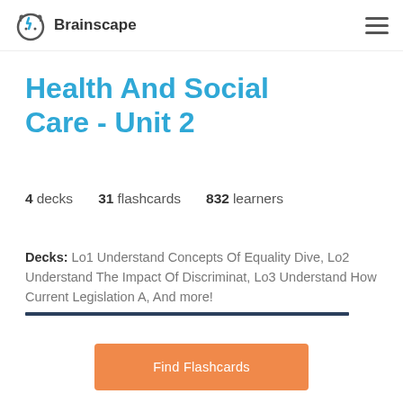Brainscape
Health And Social Care - Unit 2
4 decks  31 flashcards  832 learners
Decks: Lo1 Understand Concepts Of Equality Dive, Lo2 Understand The Impact Of Discriminat, Lo3 Understand How Current Legislation A, And more!
Find Flashcards